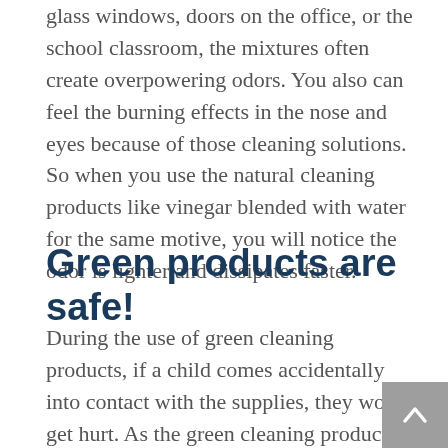glass windows, doors on the office, or the school classroom, the mixtures often create overpowering odors. You also can feel the burning effects in the nose and eyes because of those cleaning solutions. So when you use the natural cleaning products like vinegar blended with water for the same motive, you will notice the odor is lighter and dissipates faster.
Green products are safe!
During the use of green cleaning products, if a child comes accidentally into contact with the supplies, they won't get hurt. As the green cleaning products are not harmful, the child will not be poisoned or injured from the cleaning products. The cleaning products are also safe for children…